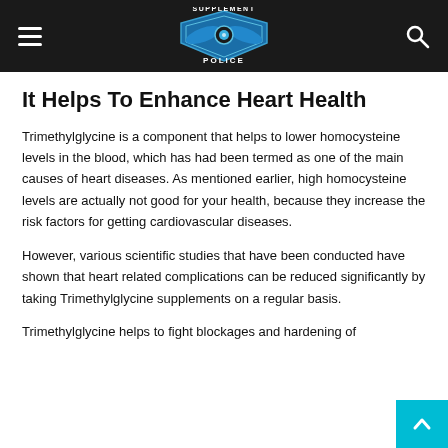Supplement Police [navigation bar with logo, hamburger menu, and search icon]
It Helps To Enhance Heart Health
Trimethylglycine is a component that helps to lower homocysteine levels in the blood, which has had been termed as one of the main causes of heart diseases. As mentioned earlier, high homocysteine levels are actually not good for your health, because they increase the risk factors for getting cardiovascular diseases.
However, various scientific studies that have been conducted have shown that heart related complications can be reduced significantly by taking Trimethylglycine supplements on a regular basis.
Trimethylglycine helps to fight blockages and hardening of